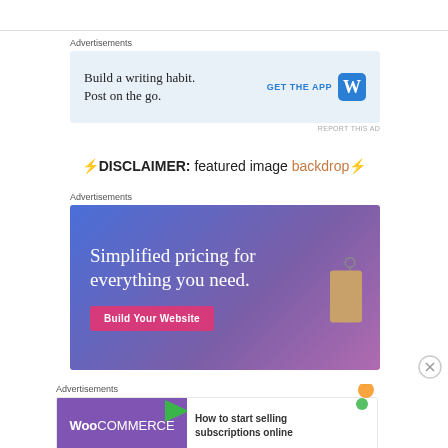Advertisements
[Figure (screenshot): WordPress app advertisement: 'Build a writing habit. Post on the go.' with GET THE APP button and WordPress logo]
REPORT THIS AD
⚡DISCLAIMER: featured image backdrop⚡
Advertisements
[Figure (screenshot): WooCommerce-style ad: 'Simplified pricing for everything you need.' with 'Build Your Website' button and price tag image]
Advertisements
[Figure (screenshot): WooCommerce ad: 'How to start selling subscriptions online']
REPORT THIS AD